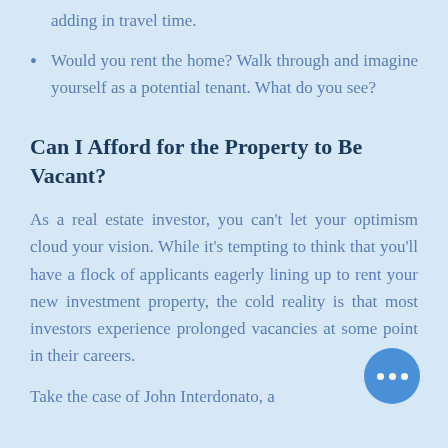adding in travel time.
Would you rent the home? Walk through and imagine yourself as a potential tenant. What do you see?
Can I Afford for the Property to Be Vacant?
As a real estate investor, you can't let your optimism cloud your vision. While it's tempting to think that you'll have a flock of applicants eagerly lining up to rent your new investment property, the cold reality is that most investors experience prolonged vacancies at some point in their careers.
Take the case of John Interdonato, a